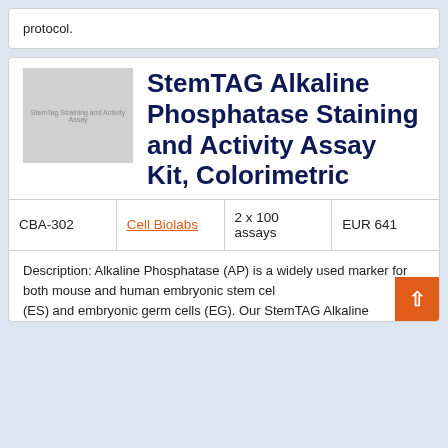protocol.
[Figure (photo): Product image placeholder for StemTAG Alkaline Phosphatase Staining and Activity Assay Kit]
StemTAG Alkaline Phosphatase Staining and Activity Assay Kit, Colorimetric
| CBA-302 | Cell Biolabs | 2 x 100 assays | EUR 641 |
| --- | --- | --- | --- |
Description: Alkaline Phosphatase (AP) is a widely used marker for both mouse and human embryonic stem cells (ES) and embryonic germ cells (EG). Our StemTAG Alkaline